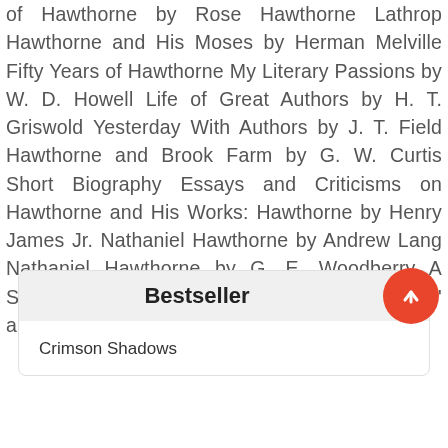of Hawthorne by Rose Hawthorne Lathrop Hawthorne and His Moses by Herman Melville Fifty Years of Hawthorne My Literary Passions by W. D. Howell Life of Great Authors by H. T. Griswold Yesterday With Authors by J. T. Field Hawthorne and Brook Farm by G. W. Curtis Short Biography Essays and Criticisms on Hawthorne and His Works: Hawthorne by Henry James Jr. Nathaniel Hawthorne by Andrew Lang Nathaniel Hawthorne by G. E. Woodberry A Study of Hawthorne by G. P. Lathrop 'Hawthorne' and 'The Works of Hawthorne' by G. W. Curtis
Bestseller
Crimson Shadows